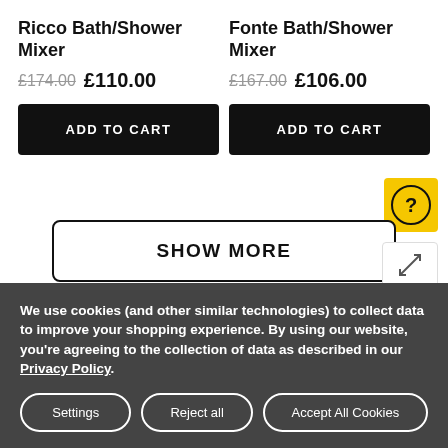Ricco Bath/Shower Mixer
£174.00  £110.00
Fonte Bath/Shower Mixer
£167.00  £106.00
ADD TO CART
ADD TO CART
SHOW MORE
Show 1 to 20 of 51 total
We use cookies (and other similar technologies) to collect data to improve your shopping experience. By using our website, you're agreeing to the collection of data as described in our Privacy Policy.
Settings
Reject all
Accept All Cookies